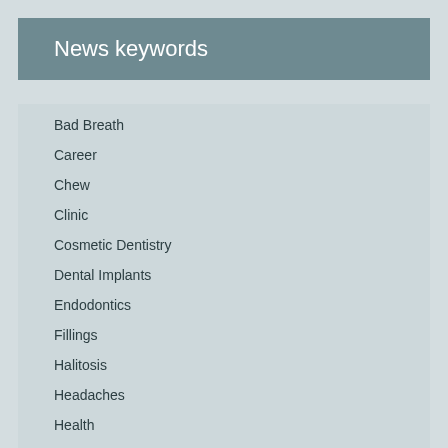News keywords
Bad Breath
Career
Chew
Clinic
Cosmetic Dentistry
Dental Implants
Endodontics
Fillings
Halitosis
Headaches
Health
Implantology
Implants
Injury
Intense Head Pain
Mastication